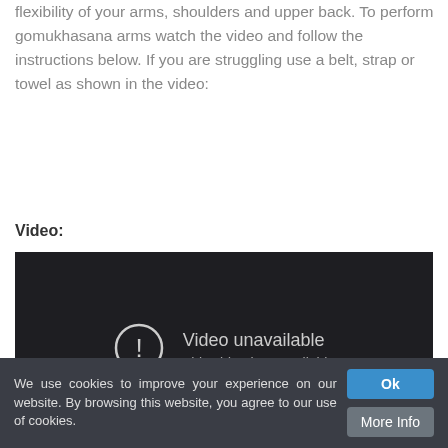flexibility of your arms, shoulders and upper back. To perform gomukhasana arms watch the video and follow the instructions below. If you are struggling use a belt, strap or towel as shown in the video:
Video:
[Figure (other): Embedded video player showing 'Video unavailable - This video is unavailable' message on a dark background with a warning icon.]
We use cookies to improve your experience on our website. By browsing this website, you agree to our use of cookies.